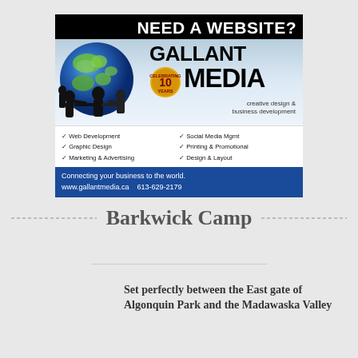[Figure (illustration): Advertisement for Gallant Media showing globe with human figures, '10 Years' badge, services list, blue footer with website and phone number. Text: NEED A WEBSITE? GALLANT MEDIA creative design & business development. Services: Web Development, Graphic Design, Marketing & Advertising, Social Media Mgmt, Printing & Promotional, Design & Layout. Connecting your business to the world. www.gallantmedia.ca 613-629-2179]
Barkwick Camp
Set perfectly between the East gate of Algonquin Park and the Madawaska Valley